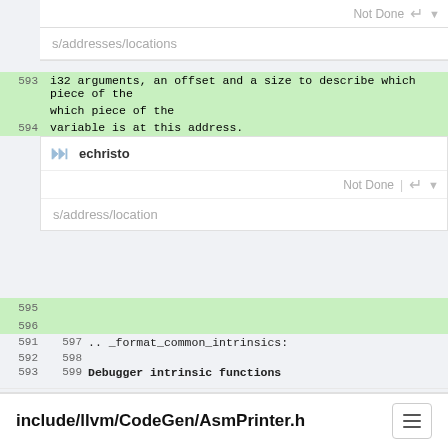Not Done
s/addresses/locations
593   i32 arguments, an offset and a size to describe which piece of the
594   variable is at this address.
[Figure (screenshot): Reviewer panel with echristo username, Not Done status, and s/address/location path]
595
596
591  597  .. _format_common_intrinsics:
592  598
593  599  Debugger intrinsic functions
Context not available.
include/llvm/CodeGen/AsmPrinter.h